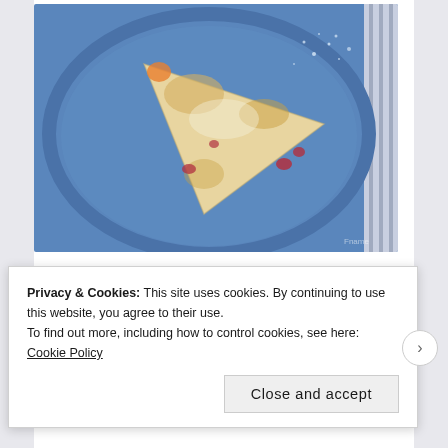[Figure (photo): A triangular scone with cranberries on a blue ceramic plate, photographed from above. Sugar crystals are visible on the plate surface.]
They're nice. Sort of a cross between a clementine and a lime. Sweet and orange but with a little bit of a bitter...
Privacy & Cookies: This site uses cookies. By continuing to use this website, you agree to their use.
To find out more, including how to control cookies, see here: Cookie Policy
Close and accept